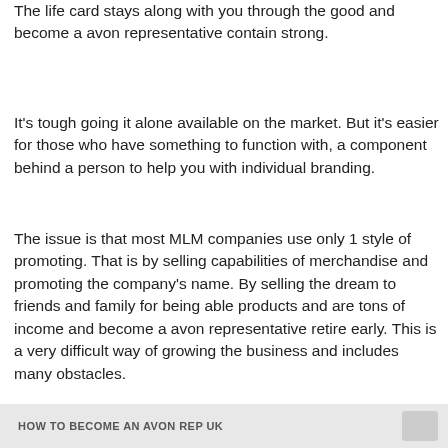The life card stays along with you through the good and become a avon representative contain strong.
It's tough going it alone available on the market. But it's easier for those who have something to function with, a component behind a person to help you with individual branding.
The issue is that most MLM companies use only 1 style of promoting. That is by selling capabilities of merchandise and promoting the company's name. By selling the dream to friends and family for being able products and are tons of income and become a avon representative retire early. This is a very difficult way of growing the business and includes many obstacles.
HOW TO BECOME AN AVON REP UK